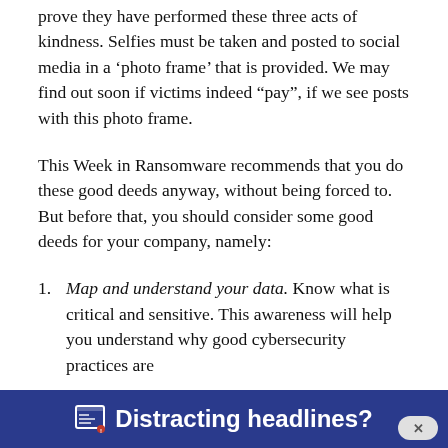prove they have performed these three acts of kindness. Selfies must be taken and posted to social media in a 'photo frame' that is provided. We may find out soon if victims indeed "pay", if we see posts with this photo frame.
This Week in Ransomware recommends that you do these good deeds anyway, without being forced to. But before that, you should consider some good deeds for your company, namely:
Map and understand your data. Know what is critical and sensitive. This awareness will help you understand why good cybersecurity practices are
[Figure (other): Dark blue banner ad with small icon and bold white text reading 'Distracting headlines?' with a close button (x) on the right]